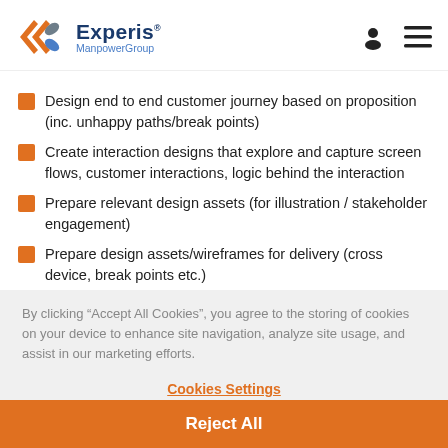Experis ManpowerGroup
Design end to end customer journey based on proposition (inc. unhappy paths/break points)
Create interaction designs that explore and capture screen flows, customer interactions, logic behind the interaction
Prepare relevant design assets (for illustration / stakeholder engagement)
Prepare design assets/wireframes for delivery (cross device, break points etc.)
By clicking “Accept All Cookies”, you agree to the storing of cookies on your device to enhance site navigation, analyze site usage, and assist in our marketing efforts.
Cookies Settings
Reject All